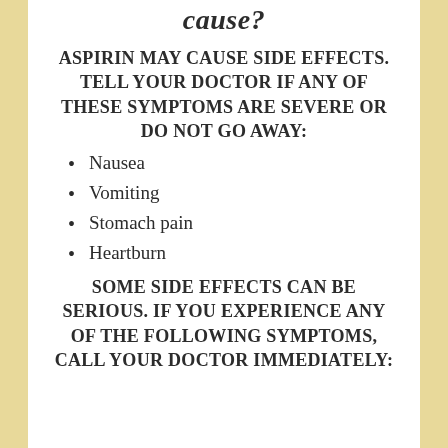cause?
ASPIRIN MAY CAUSE SIDE EFFECTS. TELL YOUR DOCTOR IF ANY OF THESE SYMPTOMS ARE SEVERE OR DO NOT GO AWAY:
Nausea
Vomiting
Stomach pain
Heartburn
SOME SIDE EFFECTS CAN BE SERIOUS. IF YOU EXPERIENCE ANY OF THE FOLLOWING SYMPTOMS, CALL YOUR DOCTOR IMMEDIATELY: